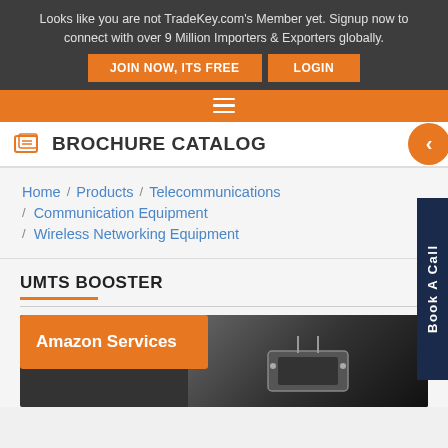Looks like you are not TradeKey.com's Member yet. Signup now to connect with over 9 Million Importers & Exporters globally.
JOIN NOW, ITS FREE | LOGIN
BROCHURE CATALOG
Home / Products / Telecommunications / Communication Equipment / Wireless Networking Equipment
UMTS BOOSTER
Amazon Services